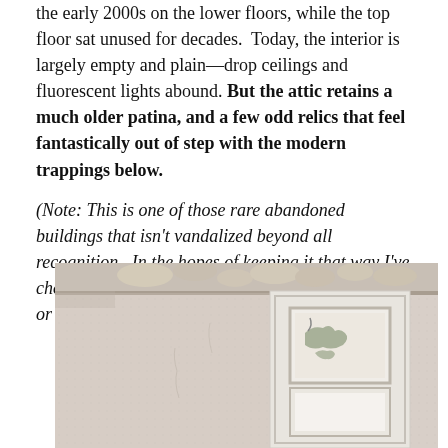the early 2000s on the lower floors, while the top floor sat unused for decades. Today, the interior is largely empty and plain—drop ceilings and fluorescent lights abound. But the attic retains a much older patina, and a few odd relics that feel fantastically out of step with the modern trappings below.
(Note: This is one of those rare abandoned buildings that isn't vandalized beyond all recognition. In the hopes of keeping it that way I've chosen not to disclose its actual name and location, or to identify some key elements of its history.)
[Figure (photo): Interior photograph of an abandoned building attic or room, showing a framed picture or map on a white-painted wall with peeling wallpaper, and what appears to be plaster debris or objects on a shelf above.]